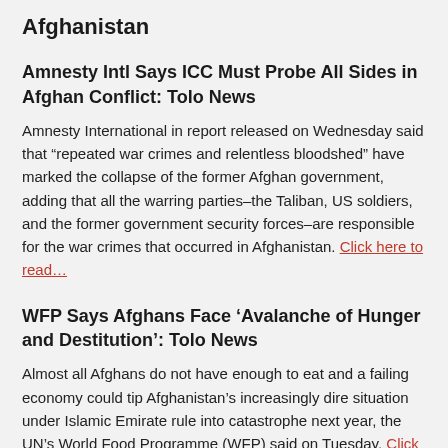Afghanistan
Amnesty Intl Says ICC Must Probe All Sides in Afghan Conflict: Tolo News
Amnesty International in report released on Wednesday said that “repeated war crimes and relentless bloodshed” have marked the collapse of the former Afghan government, adding that all the warring parties–the Taliban, US soldiers, and the former government security forces–are responsible for the war crimes that occurred in Afghanistan. Click here to read…
WFP Says Afghans Face ‘Avalanche of Hunger and Destitution’: Tolo News
Almost all Afghans do not have enough to eat and a failing economy could tip Afghanistan’s increasingly dire situation under Islamic Emirate rule into catastrophe next year, the UN’s World Food Programme (WFP) said on Tuesday. Click here to